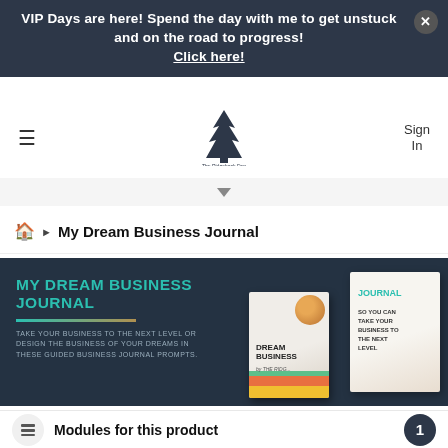VIP Days are here! Spend the day with me to get unstuck and on the road to progress! Click here!
[Figure (logo): The Ridgeback Den logo with pine tree silhouette]
Sign In
≡
▼
🏠 ▶ My Dream Business Journal
[Figure (illustration): My Dream Business Journal hero banner with teal title text, decorative line, subtitle text, and book product images on dark navy background]
Modules for this product
1